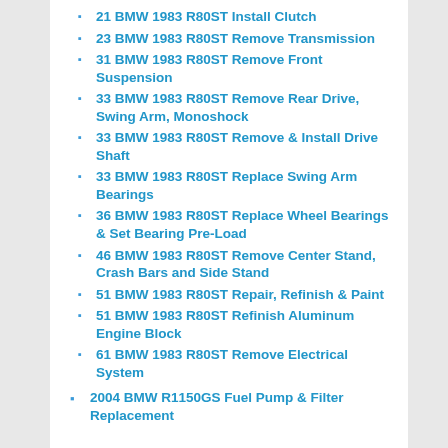21 BMW 1983 R80ST Install Clutch
23 BMW 1983 R80ST Remove Transmission
31 BMW 1983 R80ST Remove Front Suspension
33 BMW 1983 R80ST Remove Rear Drive, Swing Arm, Monoshock
33 BMW 1983 R80ST Remove & Install Drive Shaft
33 BMW 1983 R80ST Replace Swing Arm Bearings
36 BMW 1983 R80ST Replace Wheel Bearings & Set Bearing Pre-Load
46 BMW 1983 R80ST Remove Center Stand, Crash Bars and Side Stand
51 BMW 1983 R80ST Repair, Refinish & Paint
51 BMW 1983 R80ST Refinish Aluminum Engine Block
61 BMW 1983 R80ST Remove Electrical System
2004 BMW R1150GS Fuel Pump & Filter Replacement